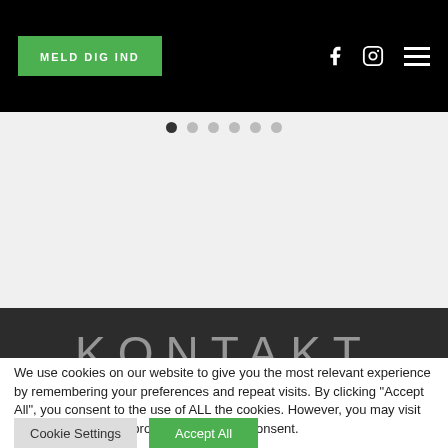MELD DIG IND
[Figure (other): Pagination dots row with 6 dots, first dot active]
KONTAKT
We use cookies on our website to give you the most relevant experience by remembering your preferences and repeat visits. By clicking "Accept All", you consent to the use of ALL the cookies. However, you may visit "Cookie Settings" to provide a controlled consent.
Cookie Settings   Accept All